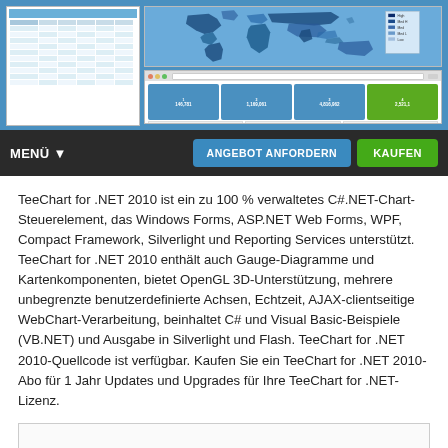[Figure (screenshot): Screenshot of TeeChart for .NET 2010 software showing a data table on the left and a world map chart on the right, plus a browser with dashboard statistics below]
[Figure (screenshot): Navigation bar with MENÜ button, ANGEBOT ANFORDERN button in blue, and KAUFEN button in green]
TeeChart for .NET 2010 ist ein zu 100 % verwaltetes C#.NET-Chart-Steuerelement, das Windows Forms, ASP.NET Web Forms, WPF, Compact Framework, Silverlight und Reporting Services unterstützt. TeeChart for .NET 2010 enthält auch Gauge-Diagramme und Kartenkomponenten, bietet OpenGL 3D-Unterstützung, mehrere unbegrenzte benutzerdefinierte Achsen, Echtzeit, AJAX-clientseitige WebChart-Verarbeitung, beinhaltet C# und Visual Basic-Beispiele (VB.NET) und Ausgabe in Silverlight und Flash. TeeChart for .NET 2010-Quellcode ist verfügbar. Kaufen Sie ein TeeChart for .NET 2010-Abo für 1 Jahr Updates und Upgrades für Ihre TeeChart for .NET-Lizenz.